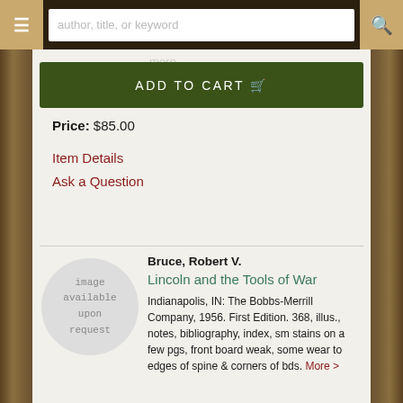[Figure (screenshot): Navigation bar with hamburger menu, search box, and search icon]
Price: $85.00
ADD TO CART
Item Details
Ask a Question
Bruce, Robert V.
Lincoln and the Tools of War
Indianapolis, IN: The Bobbs-Merrill Company, 1956. First Edition. 368, illus., notes, bibliography, index, sm stains on a few pgs, front board weak, some wear to edges of spine & corners of bds. More >
[Figure (illustration): Circular placeholder image with text: image available upon request]